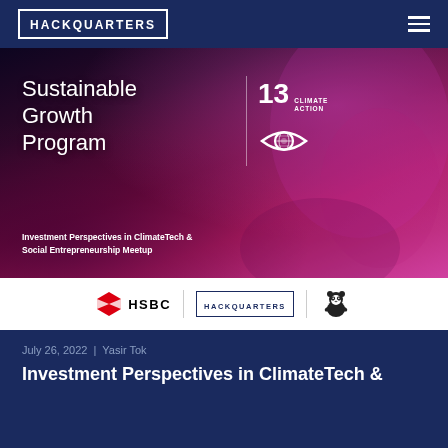HACKQUARTERS
[Figure (illustration): Hero banner for Sustainable Growth Program featuring dark red/purple background with text 'Sustainable Growth Program', UN SDG 13 Climate Action badge with eye icon, and subtitle 'Investment Perspectives in ClimateTech & Social Entrepreneurship Meetup']
[Figure (logo): Sponsors bar showing HSBC logo, HACKQUARTERS logo, and WWF panda logo]
July 26, 2022  |  Yasir Tok
Investment Perspectives in ClimateTech &